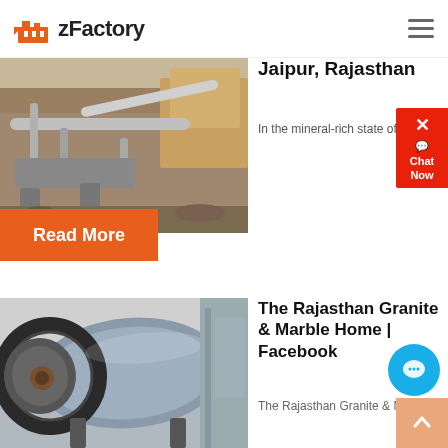zFactory
[Figure (photo): Mining/quarry industrial equipment with conveyor belts and machinery at a stone quarry site]
Jaipur, Rajasthan
In the mineral-rich state of Ra...
Read More
[Figure (photo): Large industrial ball mill machine with gear ring, grey cylindrical body in an industrial warehouse setting]
The Rajasthan Granite & Marble Home | Facebook
The Rajasthan Granite & Marble...
Read More